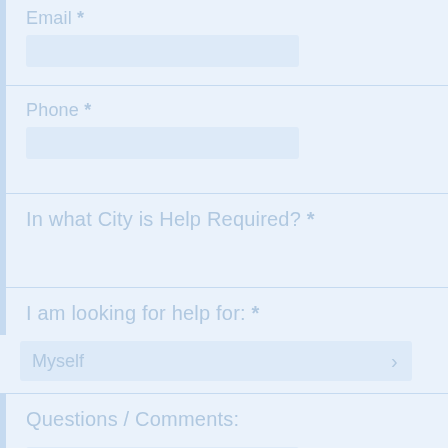Email *
Phone *
In what City is Help Required? *
I am looking for help for: *
Myself
Questions / Comments: